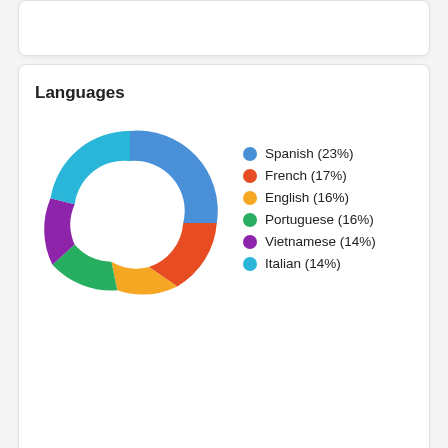[Figure (donut-chart): Languages]
Alternatives to Translate WordPress